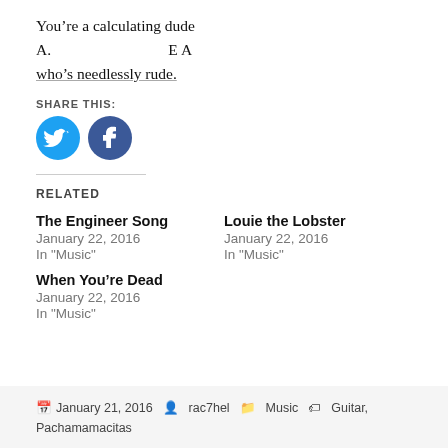You're a calculating dude
A.                    E A
who's needlessly rude.
SHARE THIS:
[Figure (other): Twitter and Facebook social share buttons (circular blue icons)]
RELATED
The Engineer Song
January 22, 2016
In "Music"
Louie the Lobster
January 22, 2016
In "Music"
When You're Dead
January 22, 2016
In "Music"
January 21, 2016  rac7hel  Music  Guitar, Pachamamacitas